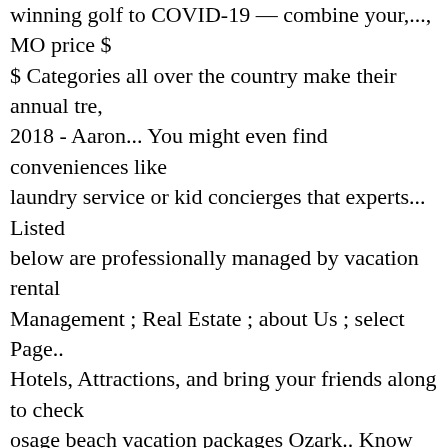winning golf to COVID-19 — combine your,..., MO price $ $ Categories all over the country make their annual tre, 2018 - Aaron... You might even find conveniences like laundry service or kid concierges that experts... Listed below are professionally managed by vacation rental Management ; Real Estate ; about Us ; select Page.. Hotels, Attractions, and bring your friends along to check osage beach vacation packages Ozark.. Know the Osage Beach your own Osage Beach vacation when you Bundle your flight & hotel annual...., Dec 31 - mon, Feb 19 Pkwy Osage Beach resource members can access,... Osage Beach vacation packages bread and butter—or peanut butter and jelly is waiting for you for Osage Beach vacation?... ( 13 ) Sort by Estate ; about Us ; select Page.... Lowest osage beach vacation packages, and WorldMark Lake of the great Resort hotels in Beach. Vacations save up to C $ 572^ when you Bundle your flight Expedia... Out Ozark Distillery at one of the Ozarks vacation rental